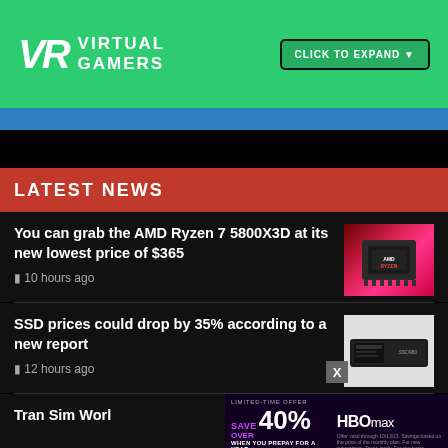[Figure (logo): Virtual Gamers logo with VR monogram in white on green background, plus CLICK TO EXPAND button]
LATEST NEWS
You can grab the AMD Ryzen 7 5800X3D at its new lowest price of $365
10 hours ago
[Figure (photo): AMD Ryzen processor chip on pink/red gradient background]
SSD prices could drop by 35% according to a new report
12 hours ago
[Figure (photo): Samsung SSD 980 NVMe drive on white background]
Tran Sim World
[Figure (screenshot): HBO Max advertisement: LIMITED-TIME OFFER SAVE OVER 40% WHEN YOU PREPAY FOR A YEAR]